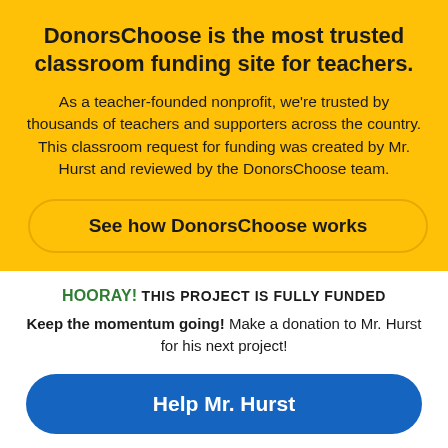DonorsChoose is the most trusted classroom funding site for teachers.
As a teacher-founded nonprofit, we're trusted by thousands of teachers and supporters across the country. This classroom request for funding was created by Mr. Hurst and reviewed by the DonorsChoose team.
See how DonorsChoose works
HOORAY! THIS PROJECT IS FULLY FUNDED
Keep the momentum going! Make a donation to Mr. Hurst for his next project!
Help Mr. Hurst